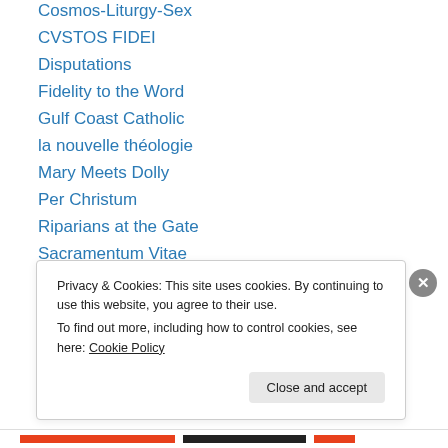Cosmos-Liturgy-Sex
CVSTOS FIDEI
Disputations
Fidelity to the Word
Gulf Coast Catholic
la nouvelle théologie
Mary Meets Dolly
Per Christum
Riparians at the Gate
Sacramentum Vitae
SoCon or Bust
The Catholic Comedy
The Catholic Key Blog
Privacy & Cookies: This site uses cookies. By continuing to use this website, you agree to their use.
To find out more, including how to control cookies, see here: Cookie Policy
Close and accept